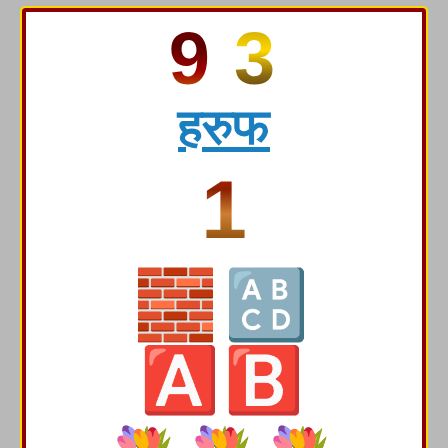[Figure (screenshot): Social media style post card with dark red border showing: large stylized numbers '9 3', Hindi text 'हरुफ', number '1', alphabet block emojis 'A B', three bouquet of roses emojis, and text 'Posted by-ARSHDEEP'. Below card: dark red bar with Refresh and Reply Post buttons. Second card beginning at bottom with yellow Refresh badge and 'GUPTA SIR' text.]